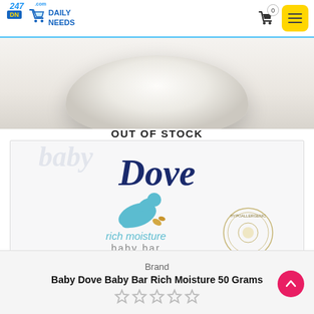[Figure (screenshot): 247 Daily Needs e-commerce website header with logo, cart icon showing 0 items, and yellow hamburger menu button]
[Figure (photo): Top portion of a white Dove soap bar, cropped, shown on light background]
OUT OF STOCK
[Figure (photo): Baby Dove Baby Bar Rich Moisture product image showing Dove logo in dark blue script, a teal dove bird graphic, 'rich moisture baby bar' text in teal, 'milder and more moisturizing than any baby soap' tagline, and a hypoallergenic seal]
Brand
Baby Dove Baby Bar Rich Moisture 50 Grams
[Figure (other): 5-star rating widget showing empty/outline stars]